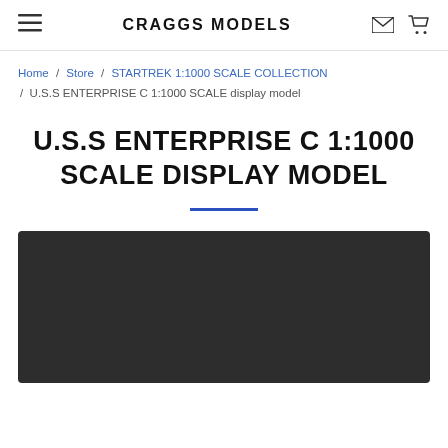CRAGGS MODELS
Home / Store / STARTREK 1:1000 SCALE COLLECTION / U.S.S ENTERPRISE C 1:1000 SCALE display model
U.S.S ENTERPRISE C 1:1000 SCALE DISPLAY MODEL
[Figure (photo): Dark background product image area for U.S.S Enterprise C 1:1000 scale display model]